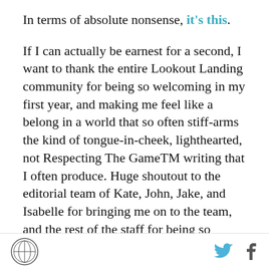In terms of absolute nonsense, it's this.
If I can actually be earnest for a second, I want to thank the entire Lookout Landing community for being so welcoming in my first year, and making me feel like a belong in a world that so often stiff-arms the kind of tongue-in-cheek, lighthearted, not Respecting The GameTM writing that I often produce. Huge shoutout to the editorial team of Kate, John, Jake, and Isabelle for bringing me on to the team, and the rest of the staff for being so encouraging and familial. I'm extremely excited for the future.
Amanda:
I had a tough time narrowing this down! I went with 3